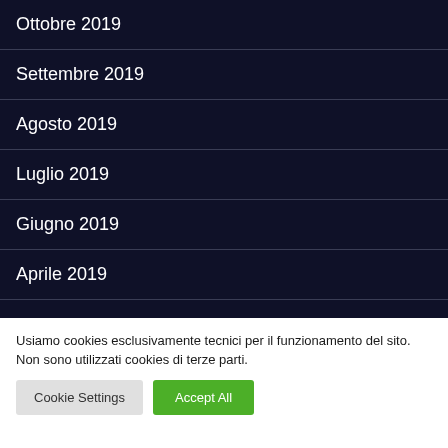Ottobre 2019
Settembre 2019
Agosto 2019
Luglio 2019
Giugno 2019
Aprile 2019
Usiamo cookies esclusivamente tecnici per il funzionamento del sito. Non sono utilizzati cookies di terze parti.
Cookie Settings | Accept All